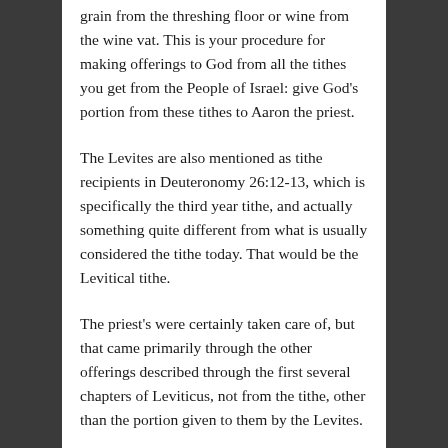grain from the threshing floor or wine from the wine vat. This is your procedure for making offerings to God from all the tithes you get from the People of Israel: give God's portion from these tithes to Aaron the priest.
The Levites are also mentioned as tithe recipients in Deuteronomy 26:12-13, which is specifically the third year tithe, and actually something quite different from what is usually considered the tithe today. That would be the Levitical tithe.
The priest's were certainly taken care of, but that came primarily through the other offerings described through the first several chapters of Leviticus, not from the tithe, other than the portion given to them by the Levites.
These include the grain offerings (Leviticus 2:3; 6:16-18; 7:9-10), a portion of the sin offering (Lev 6:26), the guilt offering, which